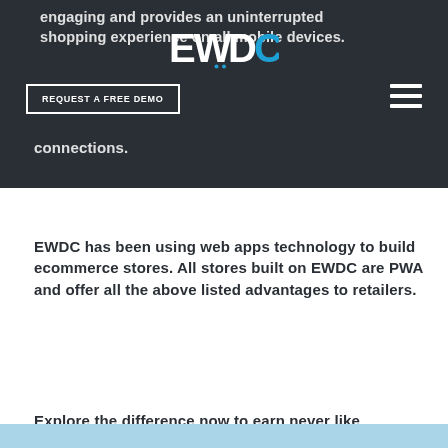engaging and provides an uninterrupted shopping experience on all mobile devices.
Progressive web applications enable your website ready to use even on poor internet connections.
[Figure (logo): EWDC logo - white letters E, W, D with blue C on dark background]
REQUEST A FREE DEMO
EWDC has been using web apps technology to build ecommerce stores. All stores built on EWDC are PWA and offer all the above listed advantages to retailers.
Explore the difference now to earn never like before.